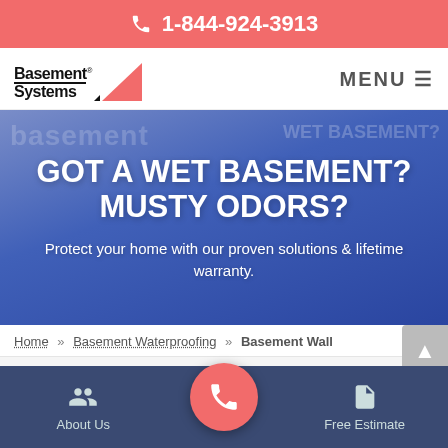1-844-924-3913
[Figure (logo): Basement Systems logo with triangle graphic and MENU button]
[Figure (photo): Hero banner with blue overlay showing basement waterproofing imagery]
GOT A WET BASEMENT? MUSTY ODORS?
Protect your home with our proven solutions & lifetime warranty.
Home » Basement Waterproofing » Basement Wall
About Us | [phone call button] | Free Estimate